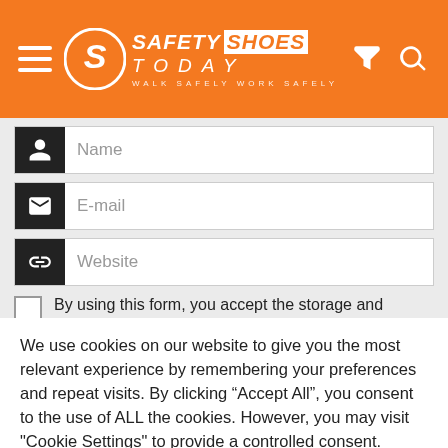[Figure (logo): Safety Shoes Today website header with orange background, hamburger menu, logo with circle S icon, SAFETY SHOES TODAY text and tagline WALK SAFELY WORK SAFELY, filter and search icons]
Name
E-mail
Website
By using this form, you accept the storage and management of your data from this website. *
We use cookies on our website to give you the most relevant experience by remembering your preferences and repeat visits. By clicking “Accept All”, you consent to the use of ALL the cookies. However, you may visit "Cookie Settings" to provide a controlled consent.
Cookie Settings
Accept All